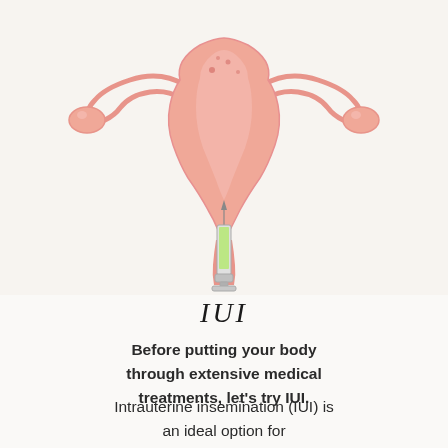[Figure (illustration): Medical illustration of a uterus with fallopian tubes and ovaries at top, with a syringe/catheter inserted through the cervix from below. The uterus is pink/coral colored on a light beige background. The syringe has a green liquid chamber.]
IUI
Before putting your body through extensive medical treatments, let's try IUI.
Intrauterine insemination (IUI) is an ideal option for families/individuals looking for